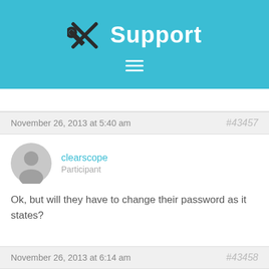Support
November 26, 2013 at 5:40 am   #43457
clearscope
Participant
Ok, but will they have to change their password as it states?
November 26, 2013 at 6:14 am   #43458